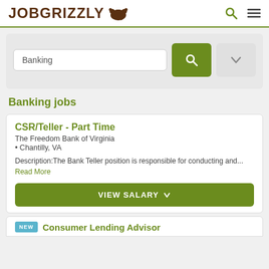JOBGRIZZLY
[Figure (screenshot): JobGrizzly website screenshot showing search bar with 'Banking' query, Banking jobs heading, a job listing for CSR/Teller - Part Time at The Freedom Bank of Virginia in Chantilly VA, and a partially visible Consumer Lending Advisor listing]
Banking jobs
CSR/Teller - Part Time
The Freedom Bank of Virginia
• Chantilly, VA
Description:The Bank Teller position is responsible for conducting and... Read More
VIEW SALARY
Consumer Lending Advisor